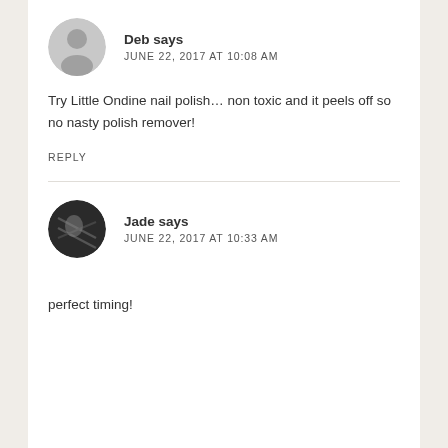[Figure (illustration): Gray placeholder avatar silhouette for user Deb]
Deb says
JUNE 22, 2017 AT 10:08 AM
Try Little Ondine nail polish… non toxic and it peels off so no nasty polish remover!
REPLY
[Figure (photo): Dark photo avatar for user Jade]
Jade says
JUNE 22, 2017 AT 10:33 AM
perfect timing!